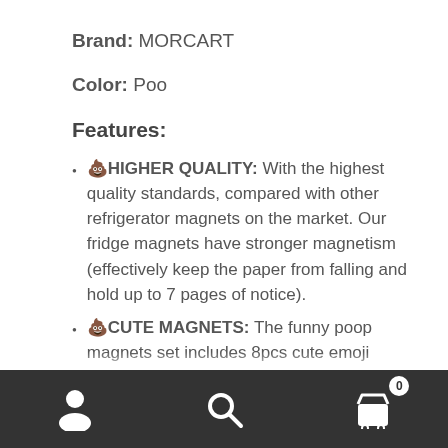Brand: MORCART
Color: Poo
Features:
💩HIGHER QUALITY: With the highest quality standards, compared with other refrigerator magnets on the market. Our fridge magnets have stronger magnetism (effectively keep the paper from falling and hold up to 7 pages of notice).
💩CUTE MAGNETS: The funny poop magnets set includes 8pcs cute emoji magnets. This is a product jointly designed by MORCART and
Navigation bar with user, search, and cart icons